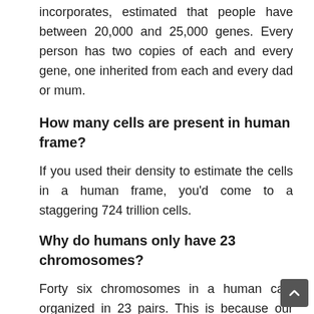incorporates, estimated that people have between 20,000 and 25,000 genes. Every person has two copies of each and every gene, one inherited from each and every dad or mum.
How many cells are present in human frame?
If you used their density to estimate the cells in a human frame, you'd come to a staggering 724 trillion cells.
Why do humans only have 23 chromosomes?
Forty six chromosomes in a human call, organized in 23 pairs. This is because our chromosomes exist in matching pairs – with one chromosome of every pair being inherited from each biological mother or father. Every cell in the human body comprises 23 pairs of such chromosomes; our diploid number is subsequently 46,